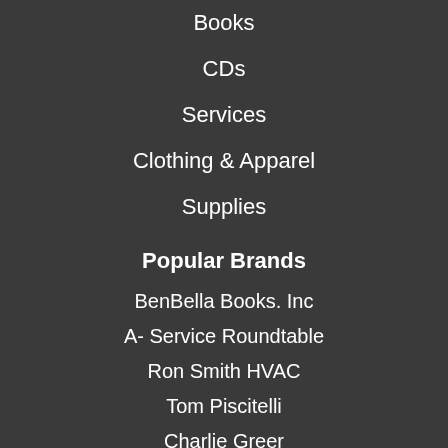Books
CDs
Services
Clothing & Apparel
Supplies
Popular Brands
BenBella Books. Inc
A- Service Roundtable
Ron Smith HVAC
Tom Piscitelli
Charlie Greer
JH Endeavor
Brandon Jacob
Chip Bell